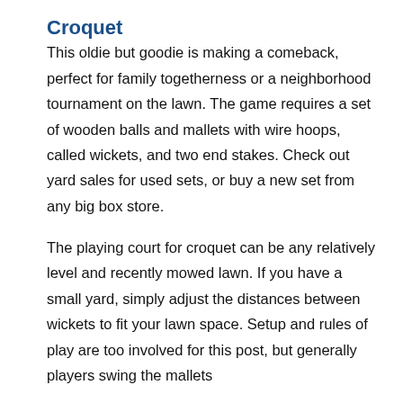Croquet
This oldie but goodie is making a comeback, perfect for family togetherness or a neighborhood tournament on the lawn. The game requires a set of wooden balls and mallets with wire hoops, called wickets, and two end stakes. Check out yard sales for used sets, or buy a new set from any big box store.
The playing court for croquet can be any relatively level and recently mowed lawn. If you have a small yard, simply adjust the distances between wickets to fit your lawn space. Setup and rules of play are too involved for this post, but generally players swing the mallets